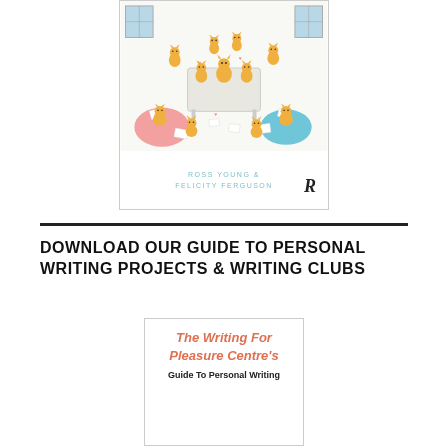[Figure (illustration): Book cover for a book by Ross Young & Felicity Ferguson, published by Routledge. Cover features a cartoon illustration of many orange cats gathered around a table in a classroom/writing setting, with papers scattered around. Authors' names appear at the bottom of the cover: ROSS YOUNG & FELICITY FERGUSON.]
DOWNLOAD OUR GUIDE TO PERSONAL WRITING PROJECTS & WRITING CLUBS
[Figure (illustration): Cover of 'The Writing For Pleasure Centre's Guide To Personal Writing' booklet/guide, with the title text in salmon/red color and subtitle in black.]